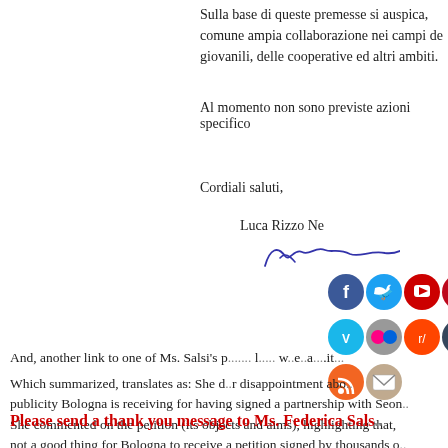Sulla base di queste premesse si auspica, comune ampia collaborazione nei campi de giovanili, delle cooperative ed altri ambiti.
Al momento non sono previste azioni specifico
Cordiali saluti,
Luca Rizzo Ne
[Figure (illustration): Handwritten signature of Luca Rizzo Ne]
[Figure (infographic): Social media sharing icons: Facebook, Twitter, YouTube, Pinterest, WhatsApp, Vimeo, Flickr, Reddit, Tumblr, LinkedIn, RSS, Email]
And, another link to one of Ms. Salsi's p... l... w... e... a... .it...
Which summarized, translates as: She d... r disappointment abo... publicity Bologna is receiving for having signed a partnership with Seon... She commented on the petition (its objects and aims), highlighting that, not a good thing for Bologna to receive a petition signed by thousands o... to protect animals in Bologna) could take action with Seongnam and do...
Please send a thank you message to Ms. Federica Sals...